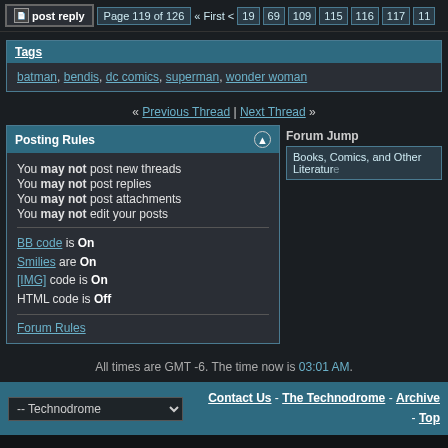post reply | Page 119 of 126 « First < 19 69 109 115 116 117 11
Tags
batman, bendis, dc comics, superman, wonder woman
« Previous Thread | Next Thread »
Posting Rules
You may not post new threads
You may not post replies
You may not post attachments
You may not edit your posts
BB code is On
Smilies are On
[IMG] code is On
HTML code is Off
Forum Rules
Forum Jump
Books, Comics, and Other Literature
All times are GMT -6. The time now is 03:01 AM.
Contact Us - The Technodrome - Archive - Top
Powered by vBulletin® Version 3.8.7
Copyright ©2000 - 2022, vBulletin Solutions, Inc.